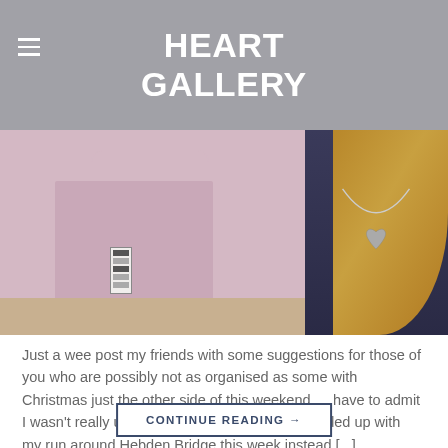HEART GALLERY
[Figure (photo): Photo of a pink gift bag with a label/tag on a wooden surface, next to a person in dark blue clothing wearing a silver heart necklace, with blonde hair visible on the right side.]
Just a wee post my friends with some suggestions for those of you who are possibly not as organised as some with Christmas just the other side of this weekend … have to admit I wasn't really up to speed myself this year! I ended up with my run around Hebden Bridge this week instead [...]
CONTINUE READING →